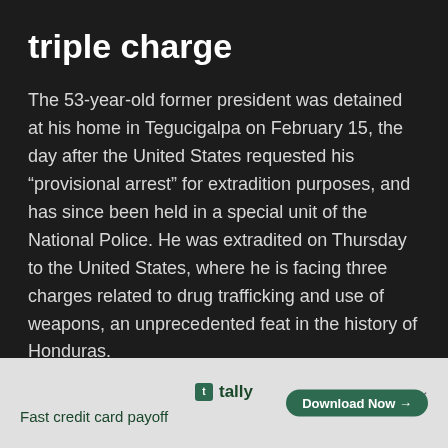triple charge
The 53-year-old former president was detained at his home in Tegucigalpa on February 15, the day after the United States requested his “provisional arrest” for extradition purposes, and has since been held in a special unit of the National Police. He was extradited on Thursday to the United States, where he is facing three charges related to drug trafficking and use of weapons, an unprecedented feat in the history of Honduras.
Hernández was handed over to members of the US Drug Enforcement Administration (DEA) at the Hernán Acosta Mejía Air Base, to which he was taken from a police facility
[Figure (other): Tally advertisement banner: Fast credit card payoff. Download Now button.]